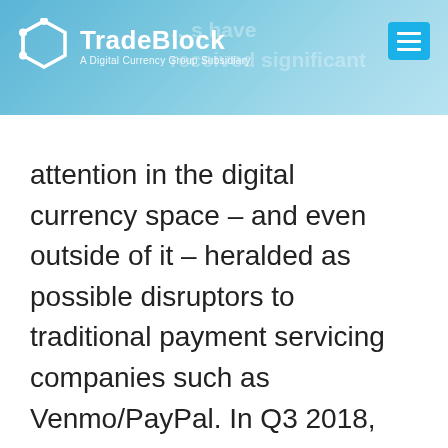TradeBlock — A Digital Currency Group Subsidiary
attention in the digital currency space – and even outside of it – heralded as possible disruptors to traditional payment servicing companies such as Venmo/PayPal. In Q3 2018, several new stablecoins were launched to much fanfare.